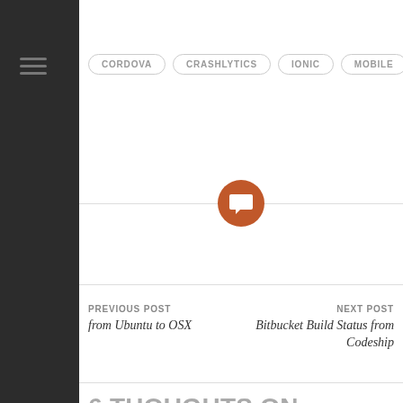CORDOVA
CRASHLYTICS
IONIC
MOBILE
[Figure (illustration): Orange circle with white speech/comment bubble icon, centered on a horizontal divider line]
PREVIOUS POST
from Ubuntu to OSX
NEXT POST
Bitbucket Build Status from Codeship
6 THOUGHTS ON “FABRIC.IO AND IONIC”